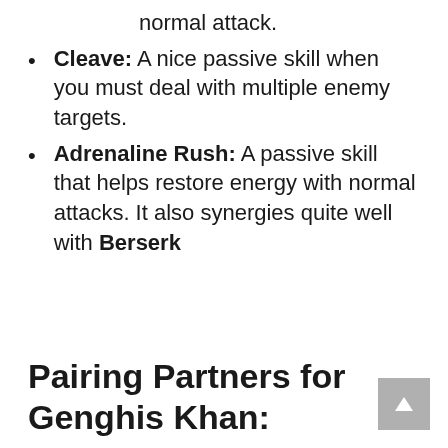normal attack.
Cleave: A nice passive skill when you must deal with multiple enemy targets.
Adrenaline Rush: A passive skill that helps restore energy with normal attacks. It also synergies quite well with Berserk
Pairing Partners for Genghis Khan: